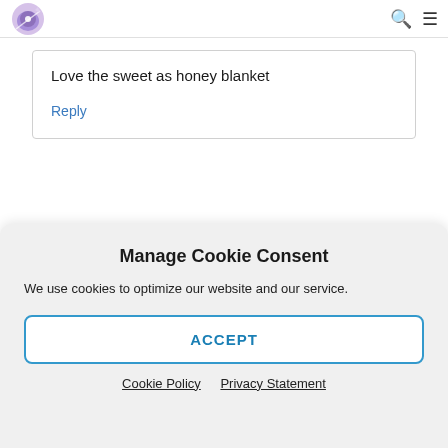Navigation bar with logo, search icon, and menu icon
Love the sweet as honey blanket
Reply
[Figure (illustration): Partial avatar/icon for next comment, with partial bold text cut off at bottom]
Manage Cookie Consent
We use cookies to optimize our website and our service.
ACCEPT
Cookie Policy   Privacy Statement